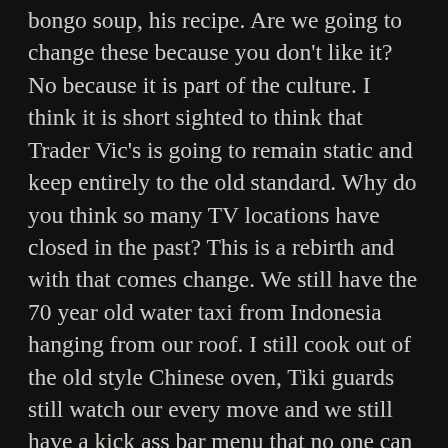bongo soup, his recipe. Are we going to change these because you don't like it? No because it is part of the culture. I think it is short sighted to think that Trader Vic's is going to remain static and keep entirely to the old standard. Why do you think so many TV locations have closed in the past? This is a rebirth and with that comes change. We still have the 70 year old water taxi from Indonesia hanging from our roof. I still cook out of the old style Chinese oven, Tiki guards still watch our every move and we still have a kick ass bar menu that no one can rival. Fault us for what you like, we stand by what we are and we don't apologize for it. I do invite you to come to Destin and try our food, our drinks and enjoy our atmosphere. If you think it totally sucks, I will buy your dinner. Just come with an open mind. I hope to see all of you, whether you are on our side or not, because I, frankly, love to cook and want to treat you to something special. And like I said, you